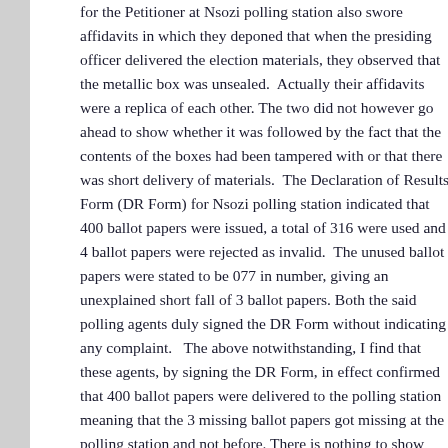for the Petitioner at Nsozi polling station also swore affidavits in which they deponed that when the presiding officer delivered the election materials, they observed that the metallic box was unsealed. Actually their affidavits were a replica of each other. The two did not however go ahead to show whether it was followed by the fact that the contents of the boxes had been tampered with or that there was short delivery of materials. The Declaration of Results Form (DR Form) for Nsozi polling station indicated that 400 ballot papers were issued, a total of 316 were used and 4 ballot papers were rejected as invalid. The unused ballot papers were stated to be 077 in number, giving an unexplained short fall of 3 ballot papers. Both the said polling agents duly signed the DR Form without indicating any complaint. The above notwithstanding, I find that these agents, by signing the DR Form, in effect confirmed that 400 ballot papers were delivered to the polling station meaning that the 3 missing ballot papers got missing at the polling station and not before. There is nothing to show how the metallic box with no seal affected the materials inside the box, or the process of voting.